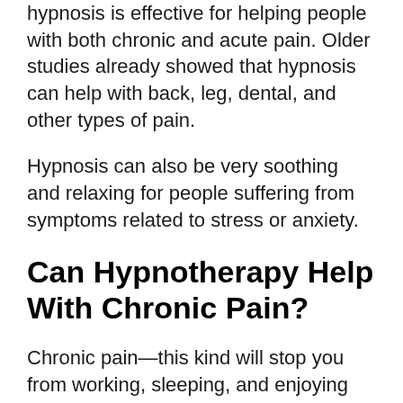hypnosis is effective for helping people with both chronic and acute pain. Older studies already showed that hypnosis can help with back, leg, dental, and other types of pain.
Hypnosis can also be very soothing and relaxing for people suffering from symptoms related to stress or anxiety.
Can Hypnotherapy Help With Chronic Pain?
Chronic pain—this kind will stop you from working, sleeping, and enjoying the day. Can hypnotherapy help with chronic pain? It can if you choose to work with a hypnotherapist who uses his or her expertise with hypnotic suggestions to put your mind at ease so that